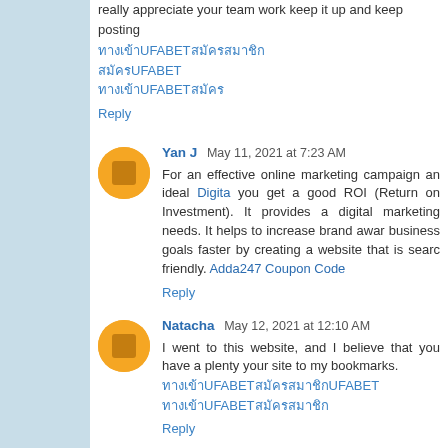really appreciate your team work keep it up and keep posting
ทางเข้าUFABET
สมัครUFABET
UFABET เว็บตรง
Reply
Yan J  May 11, 2021 at 7:23 AM
For an effective online marketing campaign an ideal Digita you get a good ROI (Return on Investment). It provides a digital marketing needs. It helps to increase brand awar business goals faster by creating a website that is searc friendly. Adda247 Coupon Code
Reply
Natacha  May 12, 2021 at 12:10 AM
I went to this website, and I believe that you have a plenty your site to my bookmarks.
ทางเข้าUFABETสมัครสมาชิก
ทางเข้าUFABET
Reply